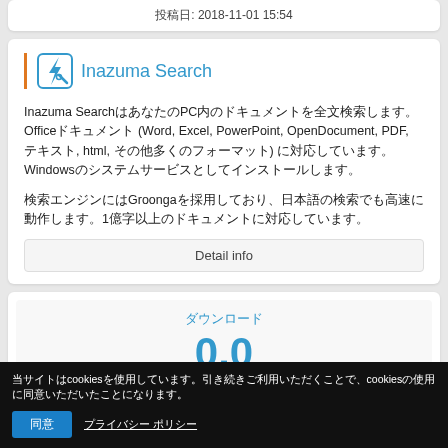投稿日: 2018-11-01 15:54
Inazuma Search
Inazuma SearchはあなたのPC内のドキュメントを全文検索します。Officeドキュメント (Word, Excel, PowerPoint, OpenDocument, PDF, テキスト, html, その他多くのフォーマット) に対応しています。WindowsのシステムサービスとしてPCにインストールします。
検索エンジンにはGroongaを採用しており、日本語の検索でも高速に動作します。1億字以上のドキュメントに対応しています。
Detail info
当サイトはcookiesを使用しています。引き続きご利用いただくことで、cookiesの使用に同意いただいたことになります。
同意 プライバシー ポリシー